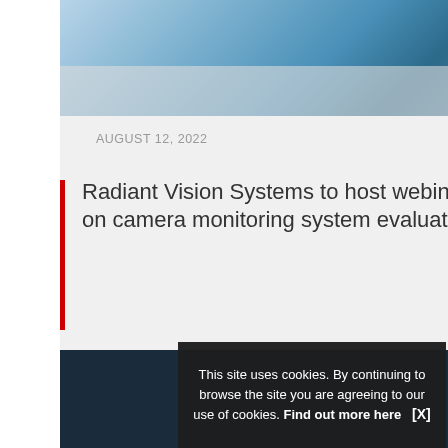[Figure (photo): Woman driving a car, viewed from the side, with hands on steering wheel]
AUGUST 12, 2022
Radiant Vision Systems to host webinar on camera monitoring system evaluation
Comments are closed.
[Figure (screenshot): Dark navy website footer banner]
This site uses cookies. By continuing to browse the site you are agreeing to our use of cookies. Find out more here [X]